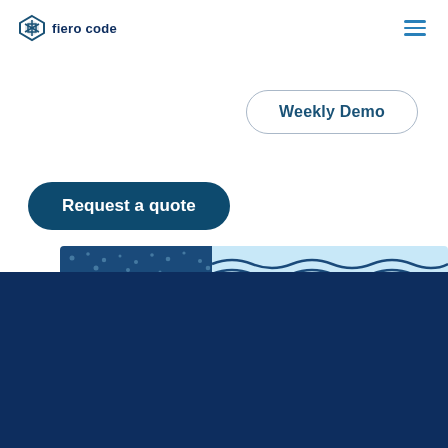[Figure (logo): Fiero Code logo with diamond/arrow icon and text 'fiero code' in dark blue]
[Figure (illustration): Hamburger menu icon (three horizontal teal lines) in top right corner]
Weekly Demo
Request a quote
[Figure (illustration): Decorative strip showing dark blue dotted pattern on left and light blue wavy lines on right]
Copyright 2022
Privacy Policy